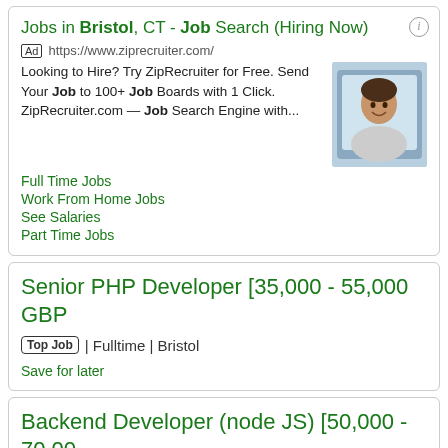Jobs in Bristol, CT - Job Search (Hiring Now)
Ad https://www.ziprecruiter.com/
Looking to Hire? Try ZipRecruiter for Free. Send Your Job to 100+ Job Boards with 1 Click. ZipRecruiter.com — Job Search Engine with...
Full Time Jobs
Work From Home Jobs
See Salaries
Part Time Jobs
Senior PHP Developer [35,000 - 55,000 GBP
Top Job | Fulltime | Bristol
Save for later
Backend Developer (node JS) [50,000 - 70,00...
Top Job | Fulltime | Bristol